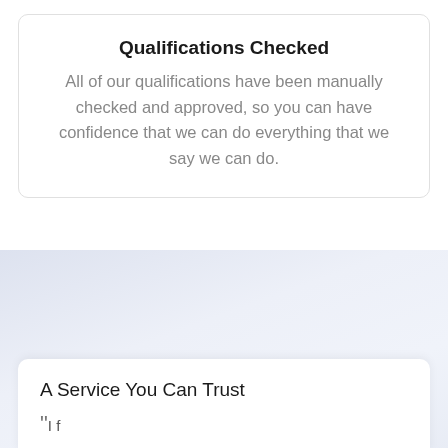Qualifications Checked
All of our qualifications have been manually checked and approved, so you can have confidence that we can do everything that we say we can do.
A Service You Can Trust